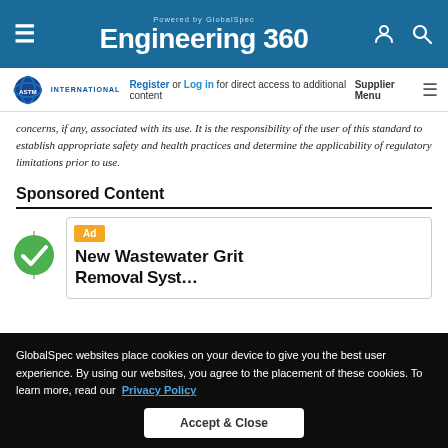Powered by GlobalSpec — Engineering 360
Register or Log in for direct access to additional content — Supplier Menu — ASTM International
concerns, if any, associated with its use. It is the responsibility of the user of this standard to establish appropriate safety and health practices and determine the applicability of regulatory limitations prior to use.
Sponsored Content
[Figure (other): Ad card with orange Ad badge and title: New Wastewater Grit Removal System (partially visible), alongside a green checkmark circle icon on the left]
GlobalSpec websites place cookies on your device to give you the best user experience. By using our websites, you agree to the placement of these cookies. To learn more, read our Privacy Policy